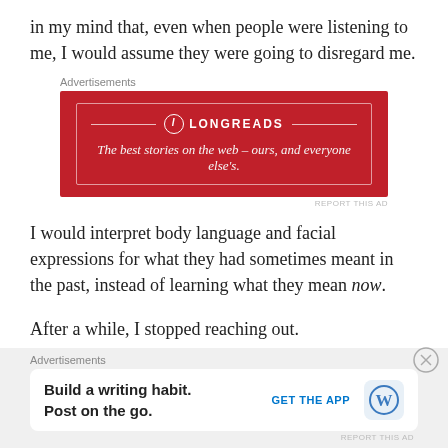in my mind that, even when people were listening to me, I would assume they were going to disregard me.
[Figure (other): Longreads advertisement banner with red background. Text reads: LONGREADS – The best stories on the web – ours, and everyone else's.]
I would interpret body language and facial expressions for what they had sometimes meant in the past, instead of learning what they mean now.
After a while, I stopped reaching out.
Why would I, when no one will validate me anyway? When my feelings will be dismissed?
[Figure (other): WordPress advertisement. Text reads: Build a writing habit. Post on the go. GET THE APP with WordPress logo.]